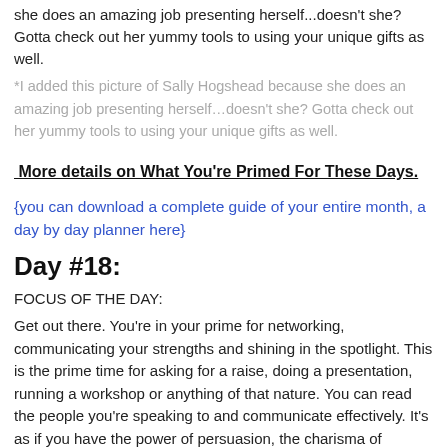she does an amazing job presenting herself...doesn't she? Gotta check out her yummy tools to using your unique gifts as well.
*I added this picture of Sally Hogshead because she does an amazing job presenting herself…doesn't she? Gotta check out her yummy tools to using your unique gifts as well.
More details on What You're Primed For These Days.
{you can download a complete guide of your entire month, a day by day planner here}
Day #18:
FOCUS OF THE DAY:
Get out there. You're in your prime for networking, communicating your strengths and shining in the spotlight. This is the prime time for asking for a raise, doing a presentation, running a workshop or anything of that nature. You can read the people you're speaking to and communicate effectively. It's as if you have the power of persuasion, the charisma of authentic passion and the gumption to do anything.